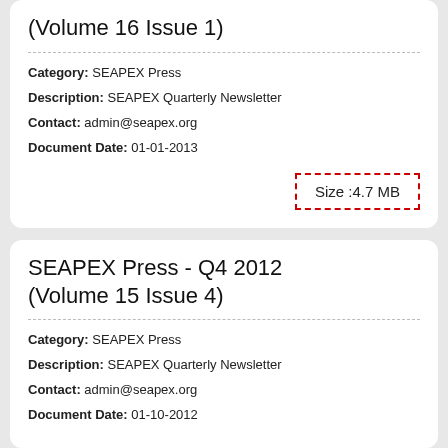(Volume 16 Issue 1)
Category: SEAPEX Press
Description: SEAPEX Quarterly Newsletter
Contact: admin@seapex.org
Document Date: 01-01-2013
Size :4.7 MB
SEAPEX Press - Q4 2012 (Volume 15 Issue 4)
Category: SEAPEX Press
Description: SEAPEX Quarterly Newsletter
Contact: admin@seapex.org
Document Date: 01-10-2012